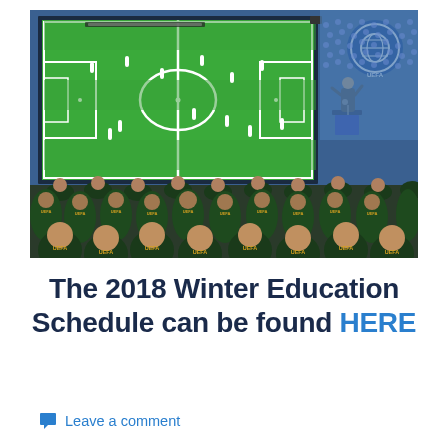[Figure (photo): A UEFA coaching/education seminar with attendees in dark green UEFA jackets seated facing a presenter at a podium. Behind the presenter is a large screen showing a football/soccer video game field view. The UEFA logo is visible in the upper right of the screen.]
The 2018 Winter Education Schedule can be found HERE
Leave a comment